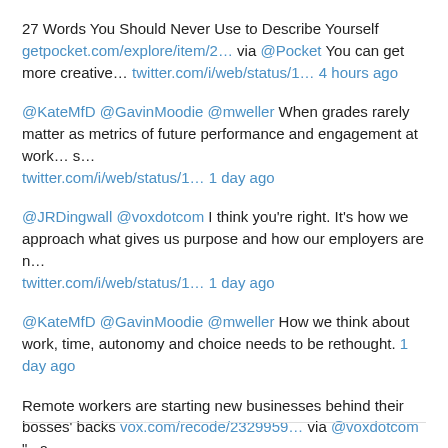27 Words You Should Never Use to Describe Yourself getpocket.com/explore/item/2… via @Pocket You can get more creative… twitter.com/i/web/status/1… 4 hours ago
@KateMfD @GavinMoodie @mweller When grades rarely matter as metrics of future performance and engagement at work… s… twitter.com/i/web/status/1… 1 day ago
@JRDingwall @voxdotcom I think you're right. It's how we approach what gives us purpose and how our employers are n… twitter.com/i/web/status/1… 1 day ago
@KateMfD @GavinMoodie @mweller How we think about work, time, autonomy and choice needs to be rethought. 1 day ago
Remote workers are starting new businesses behind their bosses' backs vox.com/recode/2329959… via @voxdotcom "...a… twitter.com/i/web/status/1… 1 day ago